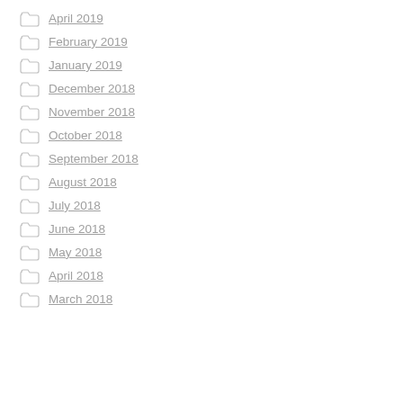April 2019
February 2019
January 2019
December 2018
November 2018
October 2018
September 2018
August 2018
July 2018
June 2018
May 2018
April 2018
March 2018